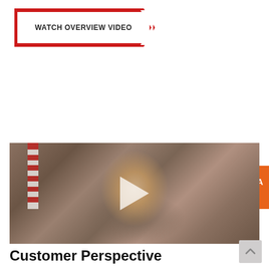[Figure (other): Watch Overview Video button - white button with red border and angled right edge, bold uppercase text]
[Figure (other): Request a Demo button - orange button with left-pointing arrow shape, monitor/DEMO icon on left, bold white text REQUEST A DEMO on right]
[Figure (photo): Video thumbnail showing a man in a grey suit sitting in a leather chair speaking, American flag visible in background, white semi-transparent play button triangle overlaid in center]
Customer Perspective